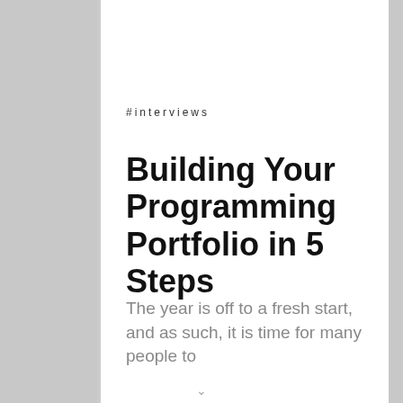#interviews
Building Your Programming Portfolio in 5 Steps
The year is off to a fresh start, and as such, it is time for many people to